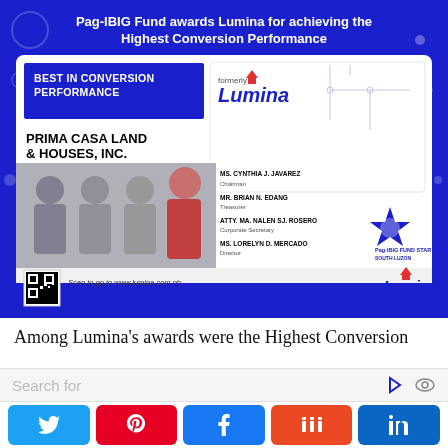[Figure (photo): Pag-IBIG Fund awards Lumina Best in Conversion Performance certificate image featuring Prima Casa Land & Houses Inc (formerly Lumina) with four company officers photos and QR code]
Among Lumina's awards were the Highest Conversion
Search for